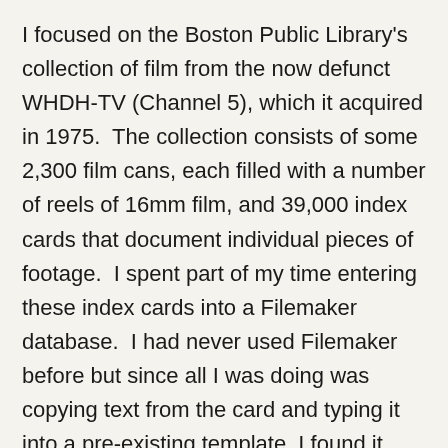I focused on the Boston Public Library's collection of film from the now defunct WHDH-TV (Channel 5), which it acquired in 1975. The collection consists of some 2,300 film cans, each filled with a number of reels of 16mm film, and 39,000 index cards that document individual pieces of footage. I spent part of my time entering these index cards into a Filemaker database. I had never used Filemaker before but since all I was doing was copying text from the card and typing it into a pre-existing template, I found it pretty easy going.
Ultimately, I entered about 2,200 of the 39,000 WHDH-TV index cards into the Filemaker database. Still, with 2,200 records, the database was large enough to show that the collection is arranged roughly chronologically